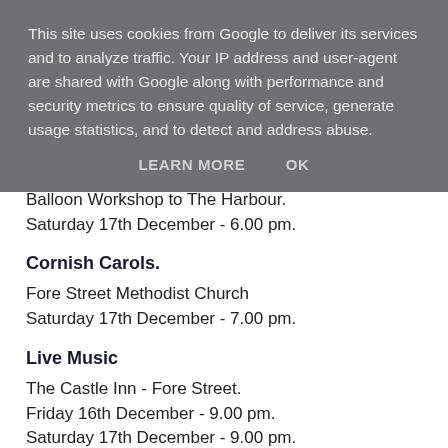This site uses cookies from Google to deliver its services and to analyze traffic. Your IP address and user-agent are shared with Google along with performance and security metrics to ensure quality of service, generate usage statistics, and to detect and address abuse.
LEARN MORE    OK
Balloon Workshop to The Harbour.
Saturday 17th December - 6.00 pm.
Cornish Carols.
Fore Street Methodist Church
Saturday 17th December - 7.00 pm.
Live Music
The Castle Inn - Fore Street.
Friday 16th December - 9.00 pm.
Saturday 17th December - 9.00 pm.
Sunday 18th December - 3.00 pm.
Full listings of events around town -